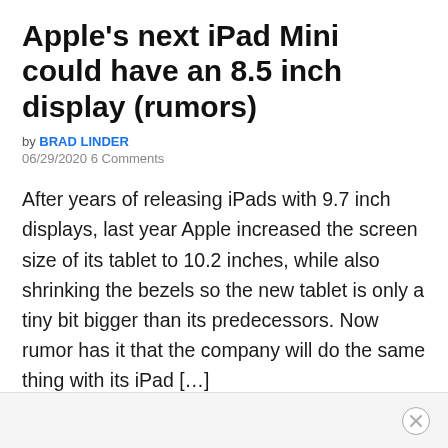Apple's next iPad Mini could have an 8.5 inch display (rumors)
by BRAD LINDER
06/29/2020 6 Comments
After years of releasing iPads with 9.7 inch displays, last year Apple increased the screen size of its tablet to 10.2 inches, while also shrinking the bezels so the new tablet is only a tiny bit bigger than its predecessors. Now rumor has it that the company will do the same thing with its iPad […]